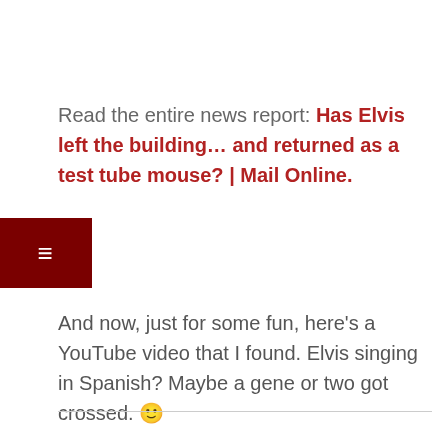Read the entire news report: Has Elvis left the building… and returned as a test tube mouse? | Mail Online.
And now, just for some fun, here's a YouTube video that I found. Elvis singing in Spanish? Maybe a gene or two got crossed. 🙂
[Figure (infographic): Social media share bar with four buttons: Facebook (dark blue, f icon), Twitter (light blue, bird icon), Email (green, envelope icon), Pinterest (red, P icon)]